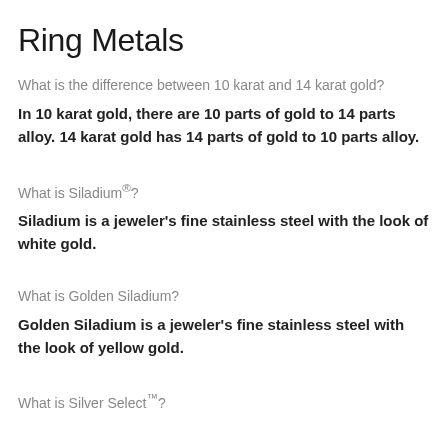Ring Metals
What is the difference between 10 karat and 14 karat gold?
In 10 karat gold, there are 10 parts of gold to 14 parts alloy. 14 karat gold has 14 parts of gold to 10 parts alloy.
What is Siladium®?
Siladium is a jeweler's fine stainless steel with the look of white gold.
What is Golden Siladium?
Golden Siladium is a jeweler's fine stainless steel with the look of yellow gold.
What is Silver Select™?